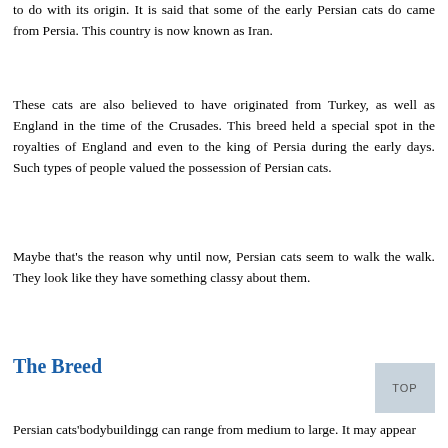to do with its origin. It is said that some of the early Persian cats do came from Persia. This country is now known as Iran.
These cats are also believed to have originated from Turkey, as well as England in the time of the Crusades. This breed held a special spot in the royalties of England and even to the king of Persia during the early days. Such types of people valued the possession of Persian cats.
Maybe that's the reason why until now, Persian cats seem to walk the walk. They look like they have something classy about them.
The Breed
Persian cats'bodybuildingg can range from medium to large. It may appear